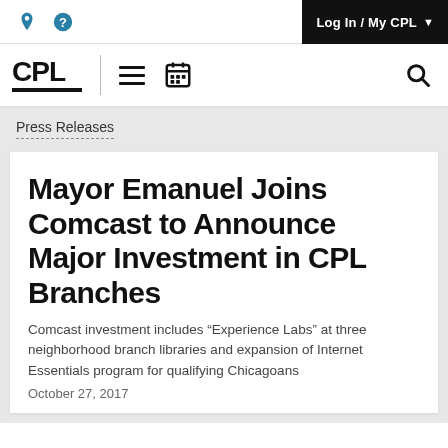Log In / My CPL
[Figure (logo): CPL (Chicago Public Library) logo with hamburger menu, calendar icon, and search icon]
Press Releases
Mayor Emanuel Joins Comcast to Announce Major Investment in CPL Branches
Comcast investment includes “Experience Labs” at three neighborhood branch libraries and expansion of Internet Essentials program for qualifying Chicagoans
October 27, 2017